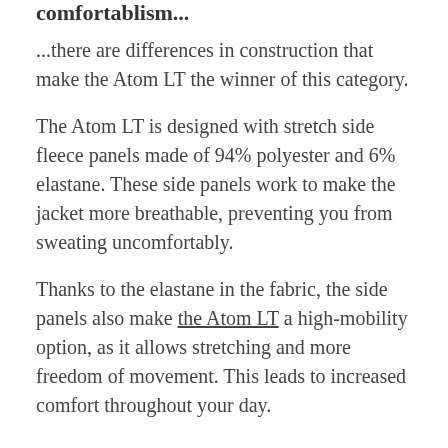comfortablism...
...there are differences in construction that make the Atom LT the winner of this category.
The Atom LT is designed with stretch side fleece panels made of 94% polyester and 6% elastane. These side panels work to make the jacket more breathable, preventing you from sweating uncomfortably.
Thanks to the elastane in the fabric, the side panels also make the Atom LT a high-mobility option, as it allows stretching and more freedom of movement. This leads to increased comfort throughout your day.